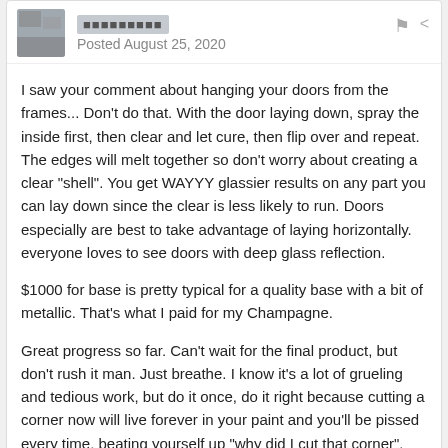Posted August 25, 2020
I saw your comment about hanging your doors from the frames... Don't do that. With the door laying down, spray the inside first, then clear and let cure, then flip over and repeat. The edges will melt together so don't worry about creating a clear "shell". You get WAYYY glassier results on any part you can lay down since the clear is less likely to run. Doors especially are best to take advantage of laying horizontally. everyone loves to see doors with deep glass reflection.
$1000 for base is pretty typical for a quality base with a bit of metallic. That's what I paid for my Champagne.
Great progress so far. Can't wait for the final product, but don't rush it man. Just breathe. I know it's a lot of grueling and tedious work, but do it once, do it right because cutting a corner now will live forever in your paint and you'll be pissed every time, beating yourself up "why did I cut that corner". Just find serenity man. You got this.
Gibbs  0